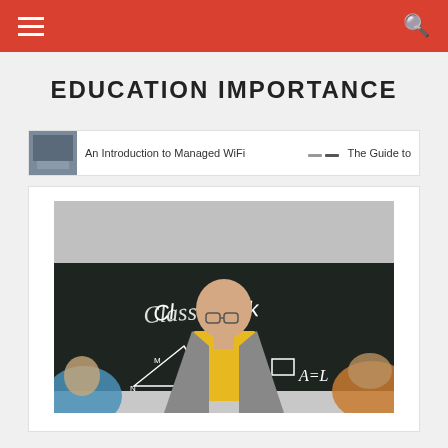EDUCATION IMPORTANCE
An Introduction to Managed WiFi    The Guide to
[Figure (photo): A bald male teacher wearing glasses, a yellow shirt and grey blazer, standing in front of a blackboard that has 'Classwork' written on it along with mathematical diagrams including triangles and formulas. Students are partially visible in the foreground.]